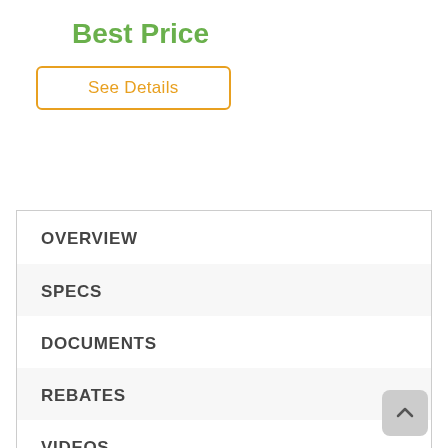Best Price
See Details
OVERVIEW
SPECS
DOCUMENTS
REBATES
VIDEOS
DELIVERY